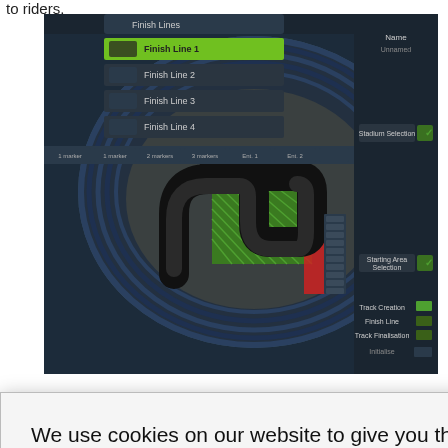to riders.
[Figure (screenshot): A racing video game track editor interface showing a stadium overhead view with a track layout in progress. Left panel shows Finish Lines list (Finish Line 1-4). Right panel shows options including Stadium Selection, Starting Area Selection, Track Creation, Finish Line, Track Finalization, Initialise. The track has a curved black asphalt path with green crosshatch pattern indicating the starting area.]
We use cookies on our website to give you the most relevant experience by remembering your preferences and repeat visits. By clicking “Accept”, or waiting for 15 seconds to auto accept, you consent to the use of ALL the cookies.
Do not sell my personal information.
Cookie settings
ACCEPT
e a track.
publisher for the
ew, supercross,
Privacy · Terms